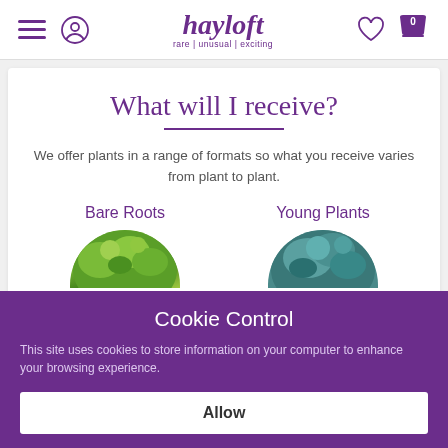hayloft — rare | unusual | exciting
What will I receive?
We offer plants in a range of formats so what you receive varies from plant to plant.
Bare Roots
Young Plants
[Figure (photo): Circular photo of bare roots plant with green leaves]
[Figure (photo): Circular photo of a young plant with blue-green leaves]
Cookie Control
This site uses cookies to store information on your computer to enhance your browsing experience.
Allow